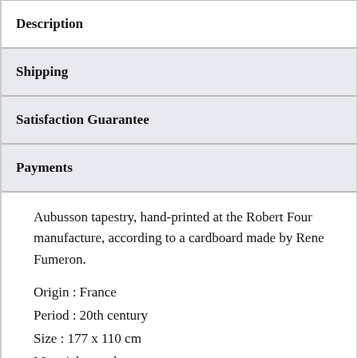Description
Shipping
Satisfaction Guarantee
Payments
Aubusson tapestry, hand-printed at the Robert Four manufacture, according to a cardboard made by Rene Fumeron.
Origin : France
Period : 20th century
Size : 177 x 110 cm
Material : wool
Perfect condition